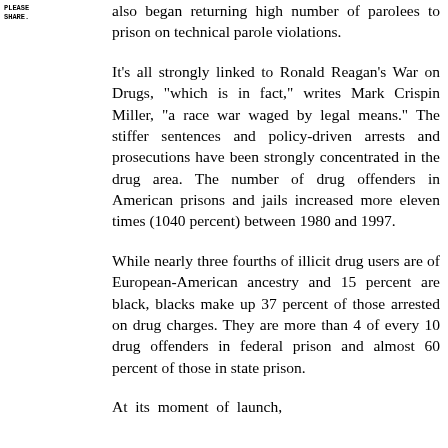PLEASE
SHARE.
also began returning high number of parolees to prison on technical parole violations.
It's all strongly linked to Ronald Reagan's War on Drugs, "which is in fact," writes Mark Crispin Miller, "a race war waged by legal means." The stiffer sentences and policy-driven arrests and prosecutions have been strongly concentrated in the drug area. The number of drug offenders in American prisons and jails increased more eleven times (1040 percent) between 1980 and 1997.
While nearly three fourths of illicit drug users are of European-American ancestry and 15 percent are black, blacks make up 37 percent of those arrested on drug charges. They are more than 4 of every 10 drug offenders in federal prison and almost 60 percent of those in state prison.
At its moment of launch,
[Figure (other): Red vertical sidebar with white rotated text reading HISTORY IS A WEAPON]